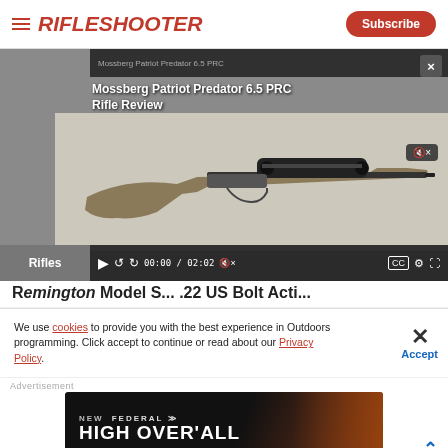RIFLESHOOTER
[Figure (screenshot): Video player showing Mossberg Patriot Predator 6.5 PRC rifle review with a bolt-action rifle on a light background. Video controls visible at bottom showing 00:00 / 02:02. Rifles category tab visible.]
Mossberg Patriot Predator 6.5 PRC Rifle Review
We use cookies to provide you with the best experience in Outdoors programming. Click accept to continue or read about our Privacy Policy.
[Figure (photo): Federal High Overall advertisement banner with dark background and orange fire/sparks imagery on the right. Text reads: NEW FEDERAL HIGH OVER ALL]